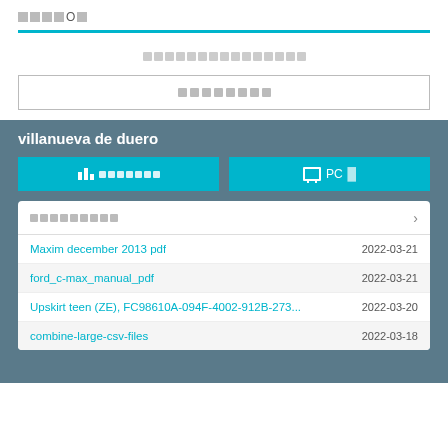████O█
███████████████
████████
villanueva de duero
📊 ███████   🖥 PC█
| Name | Date |
| --- | --- |
| Maxim december 2013 pdf | 2022-03-21 |
| ford_c-max_manual_pdf | 2022-03-21 |
| Upskirt teen (ZE), FC98610A-094F-4002-912B-273... | 2022-03-20 |
| combine-large-csv-files | 2022-03-18 |